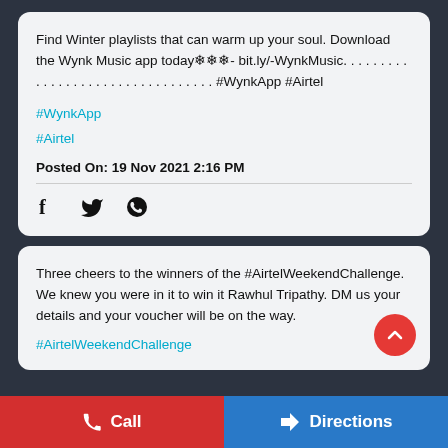Find Winter playlists that can warm up your soul. Download the Wynk Music app today❄❄❄- bit.ly/-WynkMusic. . . . . . . . . . . . . . . . . . . . . . . . . . . . . . . . . #WynkApp #Airtel
#WynkApp
#Airtel
Posted On: 19 Nov 2021 2:16 PM
[Figure (infographic): Social share icons: Facebook, Twitter, WhatsApp]
Three cheers to the winners of the #AirtelWeekendChallenge. We knew you were in it to win it Rawhul Tripathy. DM us your details and your voucher will be on the way.
#AirtelWeekendChallenge
Call   Directions